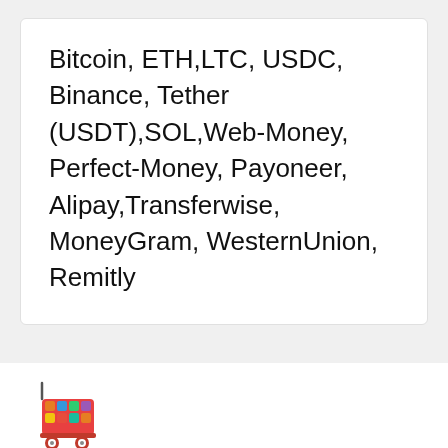Bitcoin, ETH,LTC, USDC, Binance, Tether (USDT),SOL,Web-Money, Perfect-Money, Payoneer, Alipay,Transferwise, MoneyGram, WesternUnion, Remitly
[Figure (logo): Shopping cart logo with colorful items, red cart base, website watermark at bottom]
LINKEDIN  TWITTER  FACEBOOK  REDDIT  YOUTUBE